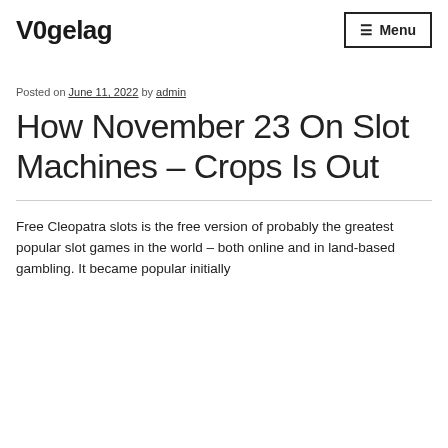V0gelag
Posted on June 11, 2022 by admin
How November 23 On Slot Machines – Crops Is Out
Free Cleopatra slots is the free version of probably the greatest popular slot games in the world – both online and in land-based gambling. It became popular initially